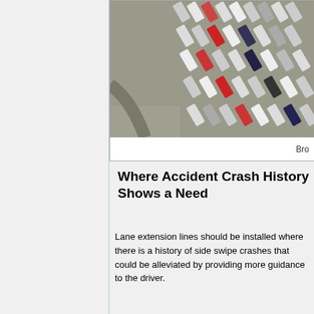[Figure (photo): Aerial view of a parking lot with many cars parked in diagonal spaces, viewed from above. Partial aerial photo cropped at right edge.]
Bro[ken off, cropped]
Where Accident Crash History Shows a Need
Lane extension lines should be installed where there is a history of side swipe crashes that could be alleviated by providing more guidance to the driver.
[Figure (illustration): Green upward-pointing arrow icon for navigation (Top link)]
Top
Wide Dotted Line
A wide dotted white line marking shall be